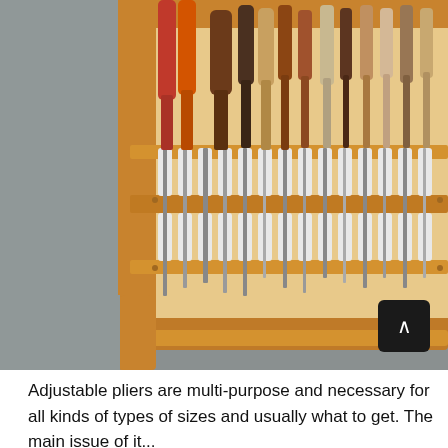[Figure (photo): A wooden wall-mounted tool rack holding various chisels and woodworking tools with colorful handles (red, orange, brown), displayed against a gray wall. The rack has multiple horizontal slots and rails holding the tool blades. A dark scroll-to-top button with an upward arrow is visible in the lower right of the image.]
Adjustable pliers are multi-purpose and necessary for all kinds of types of sizes and usually what to get. The main issue of it...